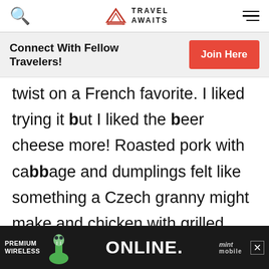Travel Awaits
Connect With Fellow Travelers!
twist on a French favorite. I liked trying it but I liked the beer cheese more! Roasted pork with cabbage and dumplings felt like something a Czech granny might make and chicken with grilled apple and a side of mashed potatoes with parsley was a winner...
[Figure (infographic): Advertisement banner: Premium Wireless - ONLINE. - mint mobile]